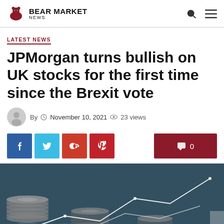BEAR MARKET NEWS
LATEST NEWS
JPMorgan turns bullish on UK stocks for the first time since the Brexit vote
By  November 10, 2021  23 views
[Figure (photo): Stack of coins with financial chart lines overlay on dark teal background]
Social share buttons: Facebook, Twitter, Google+, Pinterest. Comment count: 0